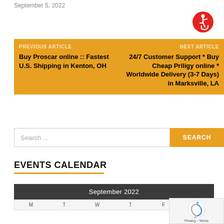September 5, 2022
[Figure (illustration): Accessibility icon — red circle with white wheelchair user symbol]
PREVIOUS ARTICLE
Buy Proscar online :: Fastest U.S. Shipping in Kenton, OH

NEXT ARTICLE
24/7 Customer Support * Buy Cheap Priligy online * Worldwide Delivery (3-7 Days) in Marksville, LA
Search …
EVENTS CALENDAR
| M | T | W | T | F | S |
| --- | --- | --- | --- | --- | --- |
[Figure (other): reCAPTCHA widget overlay with spinning arrows logo and Privacy - Terms text]